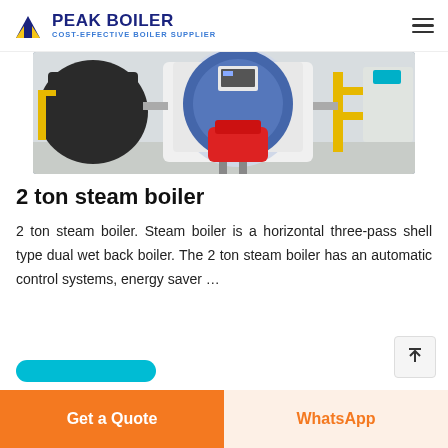PEAK BOILER COST-EFFECTIVE BOILER SUPPLIER
[Figure (photo): Industrial steam boilers in a facility — multiple horizontal shell-type boilers with yellow pipework, burners, and control panels visible.]
2 ton steam boiler
2 ton steam boiler. Steam boiler is a horizontal three-pass shell type dual wet back boiler. The 2 ton steam boiler has an automatic control systems, energy saver …
[Figure (other): Partial teal/cyan rounded button at bottom of article area]
Get a Quote
WhatsApp